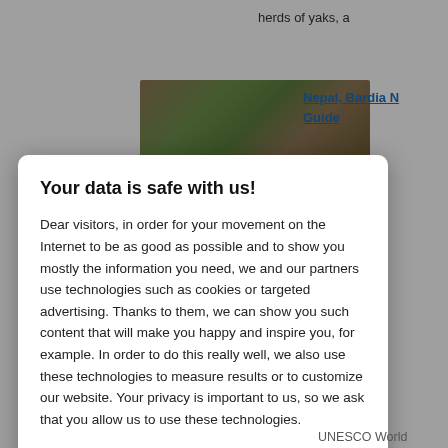herds of yaks, a
Nepal, Bardia N Guide
[Figure (photo): Aerial or ground-level photo showing green and brown natural landscape terrain]
.1 et ro er, h t
ra
.1 va un pa un ab
n
.1 no et ap na sb ati
UNESCO World
Your data is safe with us!
Dear visitors, in order for your movement on the Internet to be as good as possible and to show you mostly the information you need, we and our partners use technologies such as cookies or targeted advertising. Thanks to them, we can show you such content that will make you happy and inspire you, for example. In order to do this really well, we also use these technologies to measure results or to customize our website. Your privacy is important to us, so we ask that you allow us to use these technologies.
Accept
Deny
Set